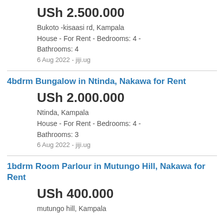USh 2.500.000
Bukoto -kisaasi rd, Kampala
House - For Rent - Bedrooms: 4 - Bathrooms: 4
6 Aug 2022 - jiji.ug
4bdrm Bungalow in Ntinda, Nakawa for Rent
USh 2.000.000
Ntinda, Kampala
House - For Rent - Bedrooms: 4 - Bathrooms: 3
6 Aug 2022 - jiji.ug
1bdrm Room Parlour in Mutungo Hill, Nakawa for Rent
USh 400.000
mutungo hill, Kampala